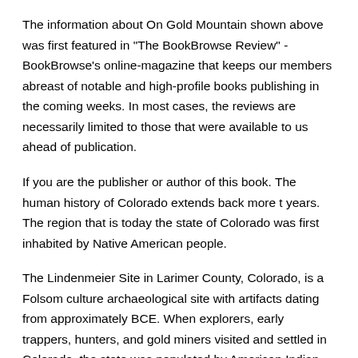The information about On Gold Mountain shown above was first featured in "The BookBrowse Review" - BookBrowse's online-magazine that keeps our members abreast of notable and high-profile books publishing in the coming weeks. In most cases, the reviews are necessarily limited to those that were available to us ahead of publication.
If you are the publisher or author of this book. The human history of Colorado extends back more t years. The region that is today the state of Colorado was first inhabited by Native American people.
The Lindenmeier Site in Larimer County, Colorado, is a Folsom culture archaeological site with artifacts dating from approximately BCE. When explorers, early trappers, hunters, and gold miners visited and settled in Colorado, the state was populated by American Indian nations.
An exceptional discovery, this is the Colton issue of the famous Ebert-Gilpin plan of Colorado. The Ebert-Gilpin Map, as it is commonly known, was first issued in and is considered to be the first